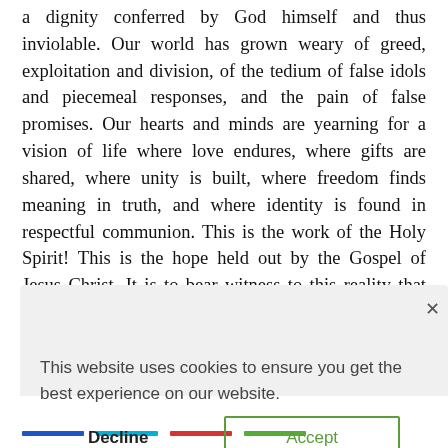a dignity conferred by God himself and thus inviolable. Our world has grown weary of greed, exploitation and division, of the tedium of false idols and piecemeal responses, and the pain of false promises. Our hearts and minds are yearning for a vision of life where love endures, where gifts are shared, where unity is built, where freedom finds meaning in truth, and where identity is found in respectful communion. This is the work of the Holy Spirit! This is the hope held out by the Gospel of Jesus Christ. It is to bear witness to this reality that you were created anew at Baptism and strengthened [... the
This website uses cookies to ensure you get the best experience on our website.
Decline   Accept